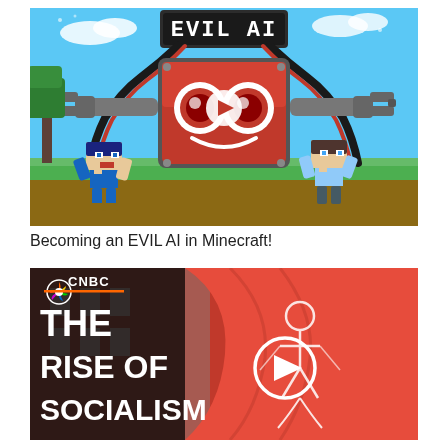[Figure (screenshot): Minecraft YouTube video thumbnail showing 'EVIL AI' text on a dark sign, a large red robot face with glowing eyes and a play button in the center, two Minecraft character figures running on grass, with robotic claw arms extending from sides. Blue sky and trees in background.]
Becoming an EVIL AI in Minecraft!
[Figure (screenshot): CNBC video thumbnail with red flags in the background, white CNBC peacock logo top left, bold white text reading 'THE RISE OF SOCIALISM' on black background left side, circular play button in center-right area over the red flags with a figure outline drawn on the flags.]